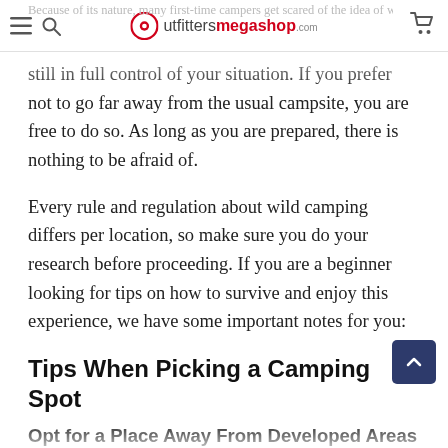utfittersmegashop.com
still in full control of your situation. If you prefer not to go far away from the usual campsite, you are free to do so. As long as you are prepared, there is nothing to be afraid of.
Every rule and regulation about wild camping differs per location, so make sure you do your research before proceeding. If you are a beginner looking for tips on how to survive and enjoy this experience, we have some important notes for you:
Tips When Picking a Camping Spot
Opt for a Place Away From Developed Areas
Consider staying within a forest. The forest always gives you a safe and peaceful place to spend a night in while still providing the privacy and distance you need for that outdoor adventure. However, make sure that you choose a spot that